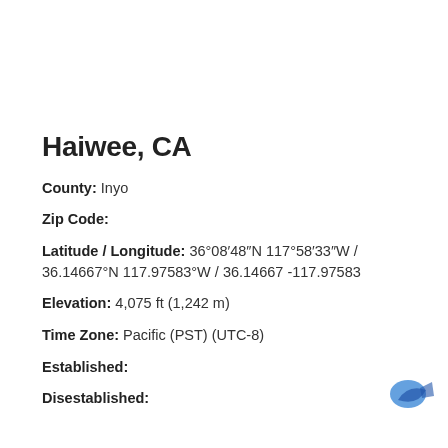Haiwee, CA
County: Inyo
Zip Code:
Latitude / Longitude: 36°08′48″N 117°58′33″W / 36.14667°N 117.97583°W / 36.14667 -117.97583
Elevation: 4,075 ft (1,242 m)
Time Zone: Pacific (PST) (UTC-8)
Established:
Disestablished: